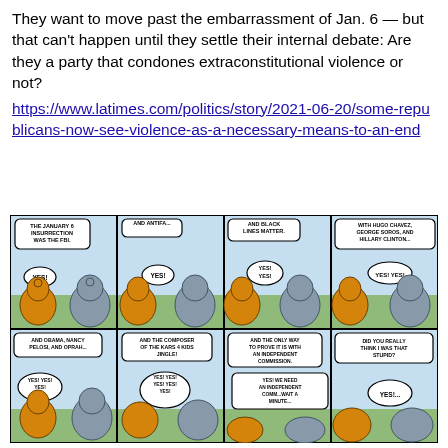They want to move past the embarrassment of Jan. 6 — but that can't happen until they settle their internal debate: Are they a party that condones extraconstitutional violence or not? https://www.latimes.com/politics/story/2021-06-20/some-republicans-now-see-violence-as-a-necessary-means-to-an-end
[Figure (illustration): Political comic strip with 8 panels arranged in 2 rows of 4. Features cartoon donkey (Democrat) and elephant (Republican). Top row panels: Panel 1: 'The January 6 insurrection was the FBI.' with 'YES!' response. Panel 2: 'And Antifa...' with 'YES!' response. Panel 3: 'And Black Lives Matter...' with 'YES! YES!' response. Panel 4: 'With Hugo Chavez, George Soros, and Hillary Clinton...' with 'YES! YES!' response. Bottom row panels: Panel 5: 'And Obama, Nancy Pelosi, and Oprah...' with 'YES! YES! YES!' response. Panel 6: 'And the composer of the Kars 4 Kids jingle!' with 'YES! YES! YES! YES! YES!' response. Panel 7: 'And the only way to prove it is with an independent commission.' with 'YES! We need an independent comm...wait a minute...' response. Panel 8: 'Did you really think I was that stupid?' with 'YES!...' response.]